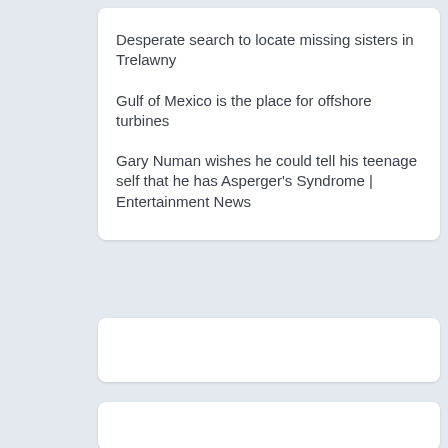Desperate search to locate missing sisters in Trelawny
Gulf of Mexico is the place for offshore turbines
Gary Numan wishes he could tell his teenage self that he has Asperger's Syndrome | Entertainment News